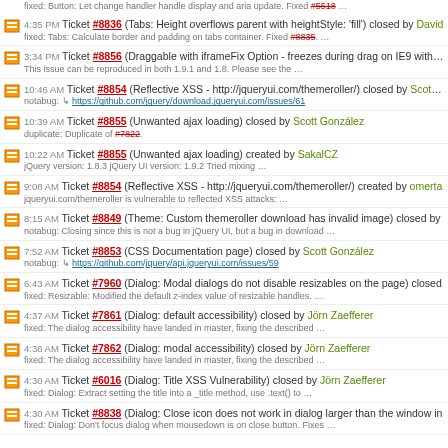fixed: Button: Let change handler handle display and aria update. Fixed #5518 ...
4:35 PM Ticket #8836 (Tabs: Height overflows parent with heightStyle: 'fill') closed by David — fixed: Tabs: Calculate border and padding on tabs container. Fixed #8835. ...
3:34 PM Ticket #8856 (Draggable with iframeFix Option - freezes during drag on IE9 with IE — This issue can be reproduced in both 1.9.1 and 1.8. Please see the ...
10:46 AM Ticket #8854 (Reflective XSS - http://jqueryui.com/themeroller/) closed by Scott G — notabug: https://github.com/jquery/download.jqueryui.com/issues/61
10:39 AM Ticket #8855 (Unwanted ajax loading) closed by Scott González — duplicate: Duplicate of #7822.
10:22 AM Ticket #8855 (Unwanted ajax loading) created by SakalCZ — jQuery version: 1.8.3 jQuery UI version: 1.9.2 Tried mixing ...
9:08 AM Ticket #8854 (Reflective XSS - http://jqueryui.com/themeroller/) created by omerta — jqueryui.com/themeroller is vulnerable to reflected XSS attacks: ...
8:15 AM Ticket #8849 (Theme: Custom themeroller download has invalid image) closed by — notabug: Closing since this is not a bug in jQuery UI, but a bug in download ...
7:52 AM Ticket #8853 (CSS Documentation page) closed by Scott González — notabug: https://github.com/jquery/api.jqueryui.com/issues/59
6:43 AM Ticket #7960 (Dialog: Modal dialogs do not disable resizables on the page) closed — fixed: Resizable: Modified the default z-index value of resizable handles. ...
4:37 AM Ticket #7861 (Dialog: default accessibility) closed by Jörn Zaefferer — fixed: The dialog accessibility have landed in master, fixing the described ...
4:36 AM Ticket #7862 (Dialog: modal accessibility) closed by Jörn Zaefferer — fixed: The dialog accessibility have landed in master, fixing the described ...
4:30 AM Ticket #6016 (Dialog: Title XSS Vulnerability) closed by Jörn Zaefferer — fixed: Dialog: Extract setting the title into a _title method, use .text() to ...
4:30 AM Ticket #8838 (Dialog: Close icon does not work in dialog larger than the window in — fixed: Dialog: Don't focus dialog when mousedown is on close button. Fixes ...